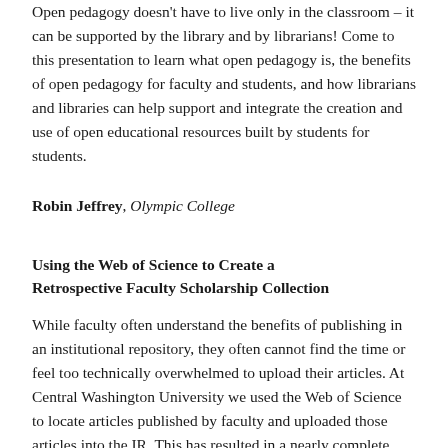Open pedagogy doesn't have to live only in the classroom – it can be supported by the library and by librarians! Come to this presentation to learn what open pedagogy is, the benefits of open pedagogy for faculty and students, and how librarians and libraries can help support and integrate the creation and use of open educational resources built by students for students.
Robin Jeffrey, Olympic College
Using the Web of Science to Create a Retrospective Faculty Scholarship Collection
While faculty often understand the benefits of publishing in an institutional repository, they often cannot find the time or feel too technically overwhelmed to upload their articles. At Central Washington University we used the Web of Science to locate articles published by faculty and uploaded those articles into the IR. This has resulted in a nearly complete